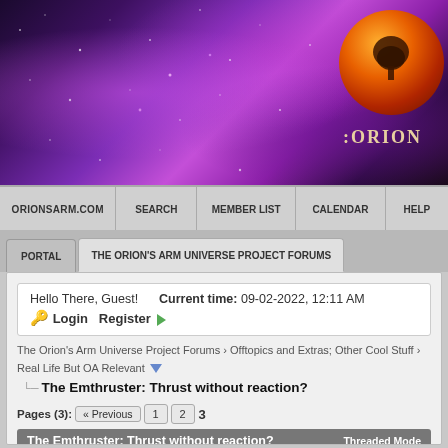[Figure (illustration): Orion's Arm website banner with purple/magenta nebula background and orange circular logo with tree icon and text ':ORION']
ORIONSARM.COM | SEARCH | MEMBER LIST | CALENDAR | HELP
PORTAL | THE ORION'S ARM UNIVERSE PROJECT FORUMS
Hello There, Guest!  Current time: 09-02-2022, 12:11 AM
🔑 Login  Register →
The Orion's Arm Universe Project Forums › Offtopics and Extras; Other Cool Stuff › Real Life But OA Relevant ▼
The Emthruster: Thrust without reaction?
Pages (3): « Previous  1  2  3
The Emthruster: Thrust without reaction?  Threaded Mode
stevebowers  Posts: 10,084